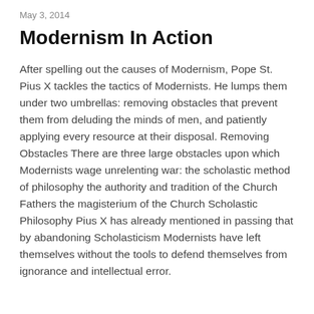May 3, 2014
Modernism In Action
After spelling out the causes of Modernism, Pope St. Pius X tackles the tactics of Modernists. He lumps them under two umbrellas: removing obstacles that prevent them from deluding the minds of men, and patiently applying every resource at their disposal. Removing Obstacles There are three large obstacles upon which Modernists wage unrelenting war: the scholastic method of philosophy the authority and tradition of the Church Fathers the magisterium of the Church Scholastic Philosophy Pius X has already mentioned in passing that by abandoning Scholasticism Modernists have left themselves without the tools to defend themselves from ignorance and intellectual error.